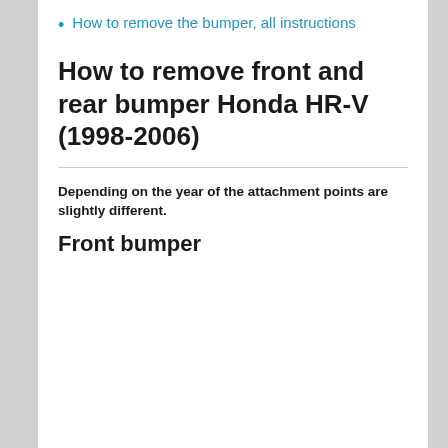How to remove the bumper, all instructions
How to remove front and rear bumper Honda HR-V (1998-2006)
Depending on the year of the attachment points are slightly different.
Front bumper